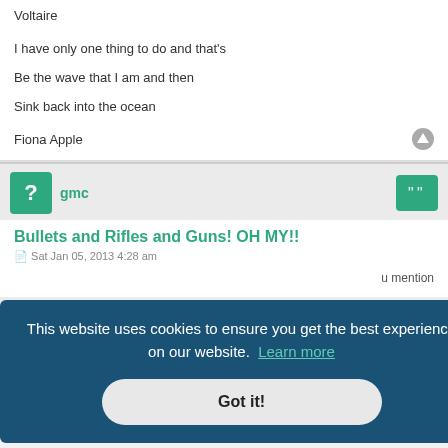Voltaire
I have only one thing to do and that's
Be the wave that I am and then
Sink back into the ocean
Fiona Apple
gmc
Bullets and Rifles and Guns! OH MY!!
Sat Jan 05, 2013 4:28 am
u mention
This website uses cookies to ensure you get the best experience on our website.  Learn more
Got it!